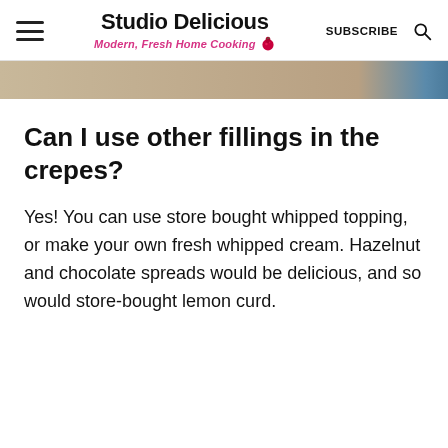Studio Delicious — Modern, Fresh Home Cooking — SUBSCRIBE
[Figure (photo): Partial photo strip of food image at top of article]
Can I use other fillings in the crepes?
Yes! You can use store bought whipped topping, or make your own fresh whipped cream. Hazelnut and chocolate spreads would be delicious, and so would store-bought lemon curd.